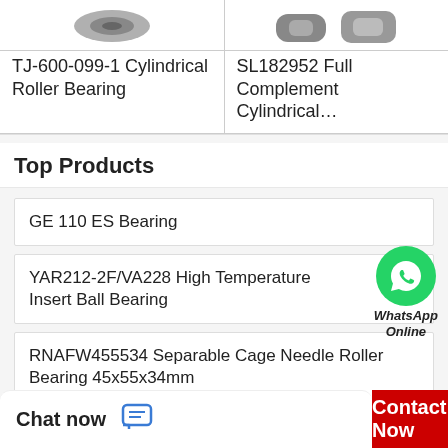[Figure (photo): Two product images side by side: cylindrical roller bearings (partial, top-cropped)]
TJ-600-099-1 Cylindrical Roller Bearing
SL182952 Full Complement Cylindrical…
Top Products
GE 110 ES Bearing
YAR212-2F/VA228 High Temperature Insert Ball Bearing
[Figure (logo): WhatsApp Online badge - green circle with phone icon, text WhatsApp Online]
RNAFW455534 Separable Cage Needle Roller Bearing 45x55x34mm
R205E21420 Runner Block / Linear Bearing 48*86.2*34mm
Chat now
Contact Now